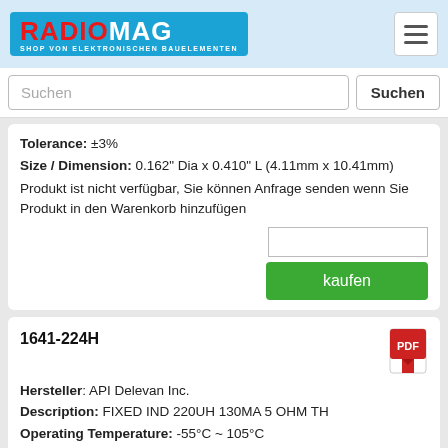RADIOMAG - SHOP VON ELEKTRONISCHEN BAUELEMENTEN
Suchen
Tolerance: ±3%
Size / Dimension: 0.162" Dia x 0.410" L (4.11mm x 10.41mm)
Produkt ist nicht verfügbar, Sie können Anfrage senden wenn Sie Produkt in den Warenkorb hinzufügen
kaufen
1641-224H
Hersteller: API Delevan Inc.
Description: FIXED IND 220UH 130MA 5 OHM TH
Operating Temperature: -55°C ~ 105°C
Frequency - Self Resonant: 7.5MHz
Q @ Freq: 55 @ 790kHz
DC Resistance (DCR): 5Ohm Max
Shielding: Shielded
Current - Saturation (Isat): 80mA
Current Rating (Amps): 130mA
Tolerance: ±3%
Inductance: 220uH